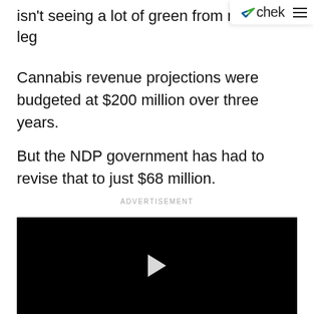chek
isn't seeing a lot of green from marijuana leg
Cannabis revenue projections were budgeted at $200 million over three years.
But the NDP government has had to revise that to just $68 million.
ADVERTISEMENT
[Figure (other): Black video player with white play button triangle in the center]